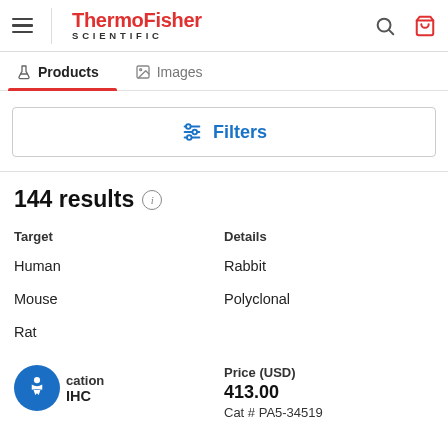ThermoFisher SCIENTIFIC
Products  Images
Filters
144 results
| Target | Details |
| --- | --- |
| Human | Rabbit |
| Mouse | Polyclonal |
| Rat |  |
Price (USD)
413.00
Cat # PA5-34519